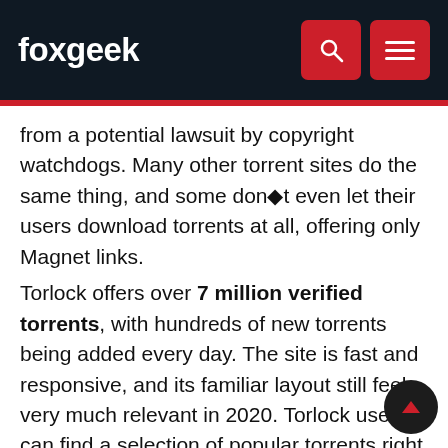foxgeek
from a potential lawsuit by copyright watchdogs. Many other torrent sites do the same thing, and some don◆t even let their users download torrents at all, offering only Magnet links.
Torlock offers over 7 million verified torrents, with hundreds of new torrents being added every day. The site is fast and responsive, and its familiar layout still feels very much relevant in 2020. Torlock users can find a selection of popular torrents right on the homepage, or they can browse the dozen or so categories, which include everything from TV shows and movies